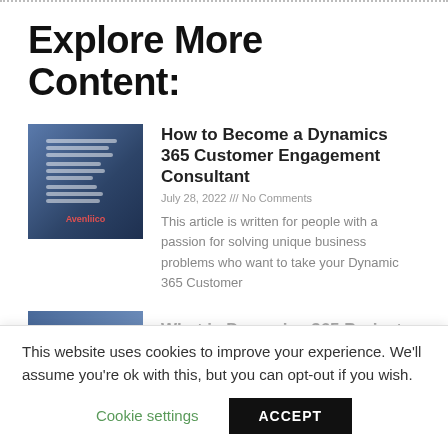Explore More Content:
[Figure (illustration): Book cover thumbnail for 'How to Become a Dynamics 365 Customer Engagement Handbook of Consultant' with blue gradient background]
How to Become a Dynamics 365 Customer Engagement Consultant
July 28, 2022 /// No Comments
This article is written for people with a passion for solving unique business problems who want to take your Dynamic 365 Customer
[Figure (illustration): Partial thumbnail image with blue gradient]
What is Dynamics 365 Project
This website uses cookies to improve your experience. We'll assume you're ok with this, but you can opt-out if you wish.
Cookie settings   ACCEPT